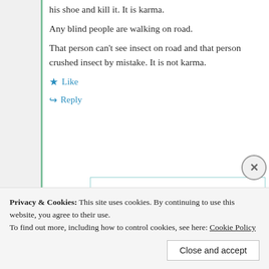his shoe and kill it. It is karma. Any blind people are walking on road. That person can't see insect on road and that person crushed insect by mistake. It is not karma.
Like
Reply
Privacy & Cookies: This site uses cookies. By continuing to use this website, you agree to their use. To find out more, including how to control cookies, see here: Cookie Policy
Close and accept